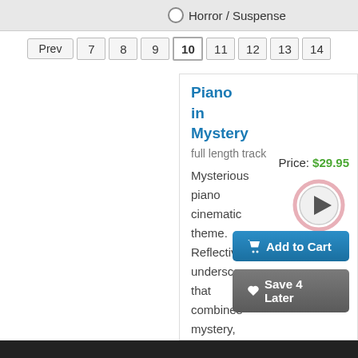Horror / Suspense
Prev  7  8  9  10  11  12  13  14
Piano in Mystery
full length track
Price: $29.95
[Figure (other): Play button circle icon]
Add to Cart
Save 4 Later
Mysterious piano cinematic theme. Reflective underscore that combines mystery, melancholy, tense and hopes. For foreign films,